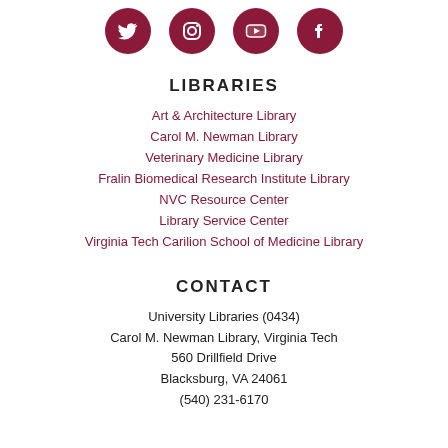[Figure (illustration): Four dark maroon social media icon circles: Twitter, Instagram, YouTube, Facebook]
LIBRARIES
Art & Architecture Library
Carol M. Newman Library
Veterinary Medicine Library
Fralin Biomedical Research Institute Library
NVC Resource Center
Library Service Center
Virginia Tech Carilion School of Medicine Library
CONTACT
University Libraries (0434)
Carol M. Newman Library, Virginia Tech
560 Drillfield Drive
Blacksburg, VA 24061
(540) 231-6170